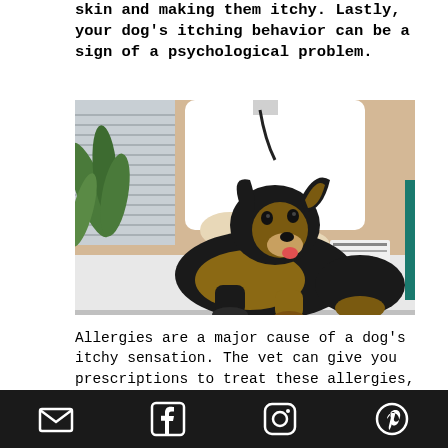skin and making them itchy. Lastly, your dog's itching behavior can be a sign of a psychological problem.
[Figure (photo): A German Shepherd puppy lying on a veterinary examination table being examined by a vet in white coat and gloves, with a plant and window blinds visible in the background.]
Allergies are a major cause of a dog's itchy sensation. The vet can give you prescriptions to treat these allergies, but topical solutions can give your dog a quick relief. You can help relieve your dog's itchiness with some natural solutions yourself, or you can get them ready-